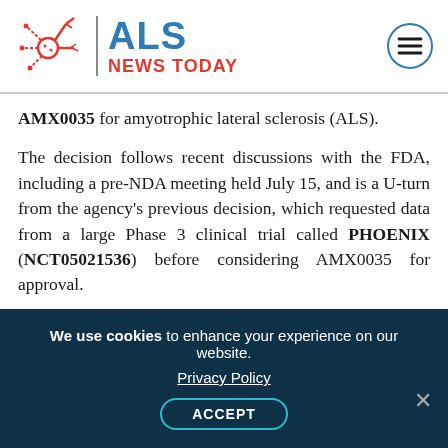[Figure (logo): ALS News Today logo with neural cell icon, blue ALS text, red NEWS TODAY text, and hamburger menu icon]
AMX0035 for amyotrophic lateral sclerosis (ALS).
The decision follows recent discussions with the FDA, including a pre-NDA meeting held July 15, and is a U-turn from the agency's previous decision, which requested data from a large Phase 3 clinical trial called PHOENIX (NCT05021536) before considering AMX0035 for approval.
A previous petition, signed by more than 50,000 people, and a call-to-action meeting with the FDA asked that the therapy be approved based on positive findings of the completed CENTAUR Phase
We use cookies to enhance your experience on our website. Privacy Policy ACCEPT